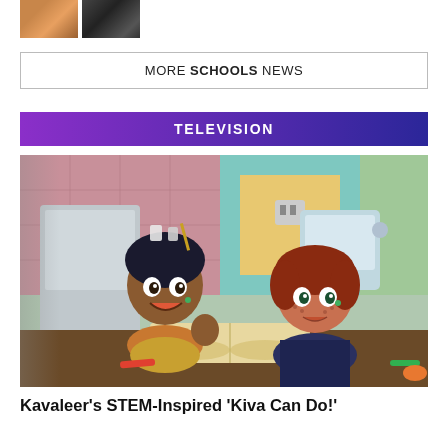[Figure (photo): Two small thumbnail images at top: left shows a warm-toned scene, right shows a dark technology/equipment scene]
MORE SCHOOLS NEWS
TELEVISION
[Figure (illustration): Animated cartoon illustration showing two child characters at a table with an open book. Left character has dark hair with cups on head and a pencil, wearing yellow, gesturing excitedly. Right character has red/auburn hair and green eyes, wearing dark blue. Background shows a colorful room with drawers and appliances.]
Kavaleer's STEM-Inspired 'Kiva Can Do!'